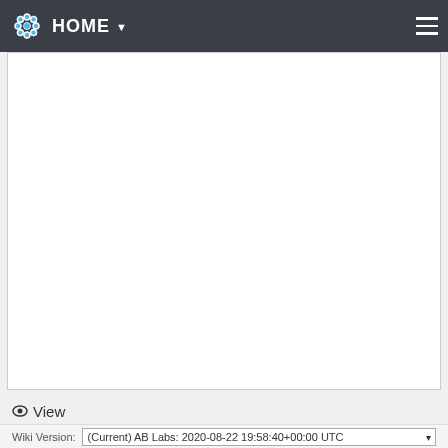HOME
[Figure (screenshot): Large white empty content area below the navigation bar]
View
Wiki Version: (Current) AB Labs: 2020-08-22 19:58:40+00:00 UTC